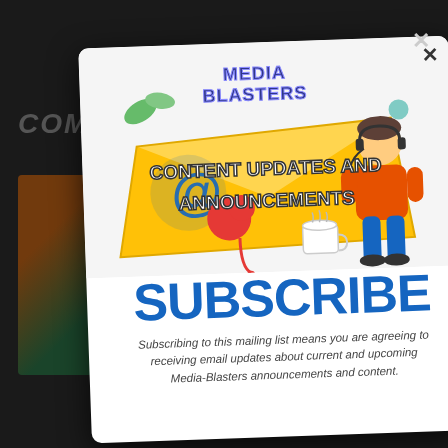[Figure (screenshot): Media Blasters email subscription modal popup with illustration showing 'Content Updates and Announcements' with envelope graphic, headset person, and @ symbol. Modal contains SUBSCRIBE heading and body text about mailing list.]
SUBSCRIBE
Subscribing to this mailing list means you are agreeing to receiving email updates about current and upcoming Media-Blasters announcements and content.